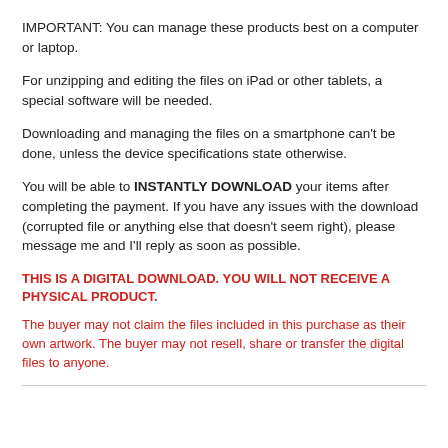IMPORTANT: You can manage these products best on a computer or laptop.
For unzipping and editing the files on iPad or other tablets, a special software will be needed.
Downloading and managing the files on a smartphone can't be done, unless the device specifications state otherwise.
You will be able to INSTANTLY DOWNLOAD your items after completing the payment. If you have any issues with the download (corrupted file or anything else that doesn't seem right), please message me and I'll reply as soon as possible.
THIS IS A DIGITAL DOWNLOAD. YOU WILL NOT RECEIVE A PHYSICAL PRODUCT.
The buyer may not claim the files included in this purchase as their own artwork. The buyer may not resell, share or transfer the digital files to anyone.